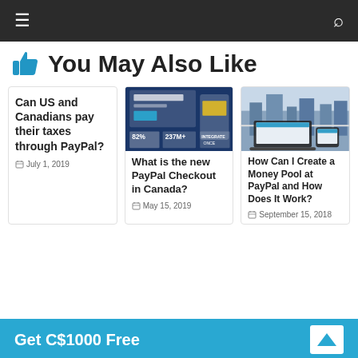Navigation bar with menu and search icons
You May Also Like
[Figure (other): Card: Can US and Canadians pay their taxes through PayPal? — July 1, 2019]
[Figure (screenshot): Card with PayPal Checkout screenshot. What is the new PayPal Checkout in Canada? — May 15, 2019]
[Figure (screenshot): Card with Money Pool laptop/phone screenshot. How Can I Create a Money Pool at PayPal and How Does It Work? — September 15, 2018]
Get C$1000 Free